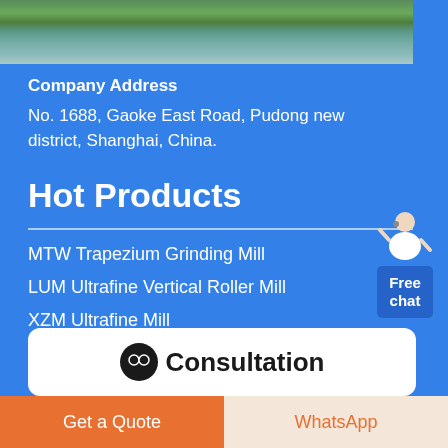[Figure (photo): Outdoor photo showing water, rocks, and greenery — partial view at top of page]
Company Address
No. 1688, Gaoke East Road, Pudong new district, Shanghai, China.
Hot Products
MTW Trapezium Grinding Mill
LUM Ultrafine Vertical Roller Mill
XZM Ultrafine Mill
Ball Mill
[Figure (illustration): Free chat widget with a customer service representative figure and blue box reading 'Free chat']
Consultation
Get a Quote
WhatsApp